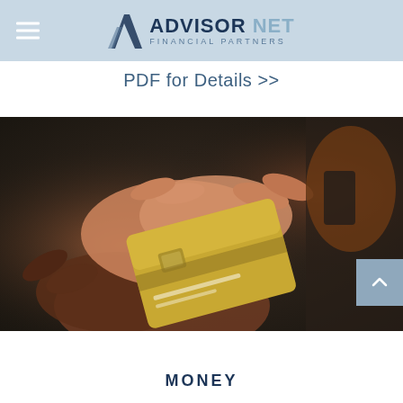ADVISOR NET FINANCIAL PARTNERS
PDF for Details >>
[Figure (photo): Close-up photo of two people's hands holding and passing a gold credit card, with a blurred dark background.]
MONEY